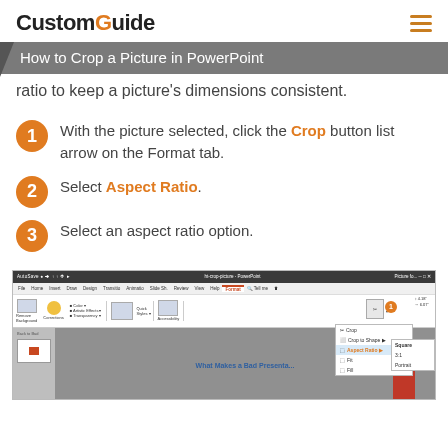CustomGuide
How to Crop a Picture in PowerPoint
ratio to keep a picture's dimensions consistent.
With the picture selected, click the Crop button list arrow on the Format tab.
Select Aspect Ratio.
Select an aspect ratio option.
[Figure (screenshot): PowerPoint screenshot showing Format tab ribbon with Crop dropdown menu open, Aspect Ratio option highlighted, and a submenu showing Square, 3:1, Portrait options.]